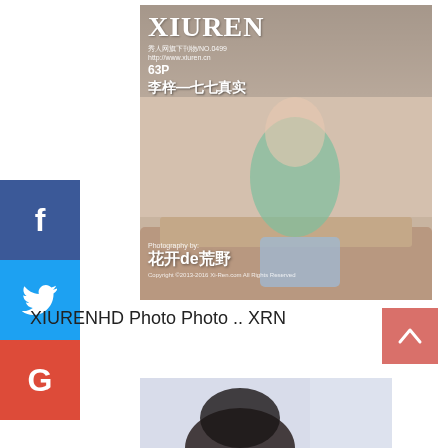[Figure (photo): Magazine cover of XIUREN featuring a young woman in a green top and denim shorts sitting on a sofa. Cover includes Chinese text, 63P page count, photography credit to 花开de荒野, and copyright notice.]
XIURENHD Photo Photo .. XRN
[Figure (photo): Partial photo of a person with dark hair, cropped at bottom of page.]